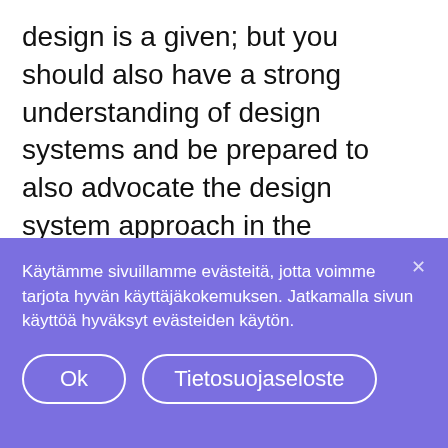design is a given; but you should also have a strong understanding of design systems and be prepared to also advocate the design system approach in the organization. Knowledge of the Finnish language also helps you, as you'll conduct user research and analyze customer feedback.
With us in the K-Group, you'll be part of defining the future experience of
Käytämme sivuillamme evästeitä, jotta voimme tarjota hyvän käyttäjäkokemuksen. Jatkamalla sivun käyttöä hyväksyt evästeiden käytön.